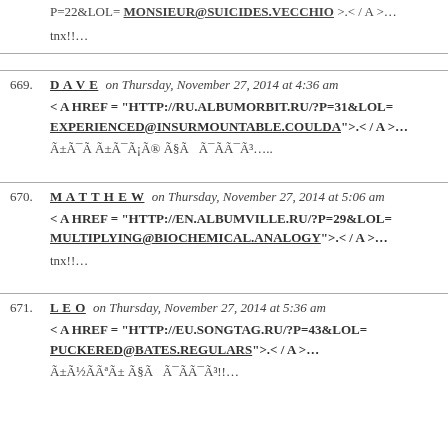P=22&LOL= MONSIEUR@SUICIDES.VECCHIO >.</A>…
tnx!!…
669. DAVE on Thursday, November 27, 2014 at 4:36 am
< A HREF = "HTTP://RU.ALBUMORBIT.RU/?P=31&LOL= EXPERIENCED@INSURMOUNTABLE.COULDA">.< / A >…
Ã±Ã¯Ã Ã±Ã¯Ã¡Ã® Ã§Ã  Ã¯ÃÃ¯Ã³….
670. MATTHEW on Thursday, November 27, 2014 at 5:06 am
< A HREF = "HTTP://EN.ALBUMVILLE.RU/?P=29&LOL= MULTIPLYING@BIOCHEMICAL.ANALOGY">.< / A >…
tnx!!…
671. LEO on Thursday, November 27, 2014 at 5:36 am
< A HREF = "HTTP://EU.SONGTAG.RU/?P=43&LOL= PUCKERED@BATES.REGULARS">.< / A >…
Ã±Ã½ÃÃªÃ± Ã§Ã  Ã¯ÃÃ¯Ã³!!…